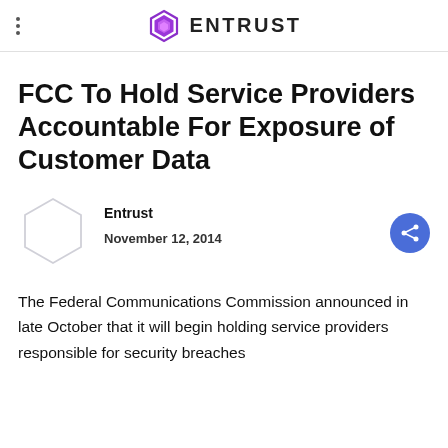ENTRUST
FCC To Hold Service Providers Accountable For Exposure of Customer Data
Entrust
November 12, 2014
The Federal Communications Commission announced in late October that it will begin holding service providers responsible for security breaches